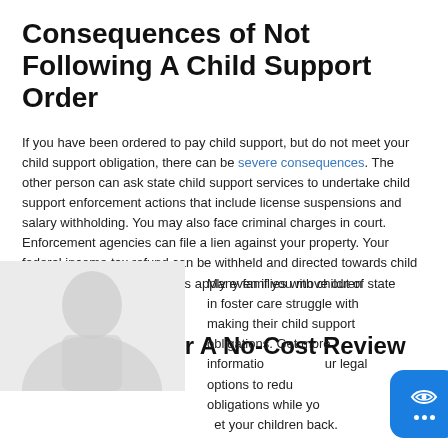Consequences of Not Following A Child Support Order
If you have been ordered to pay child support, but do not meet your child support obligation, there can be severe consequences. The other person can ask state child support services to undertake child support enforcement actions that include license suspensions and salary withholding. You may also face criminal charges in court. Enforcement agencies can file a lien against your property. Your federal income tax refund can be withheld and directed towards child support. Enforcement actions apply even if you move out of state under federal law.
Contact Us For A No-Cost Review
[Figure (photo): Silhouette/faded photo of a person in professional attire, appearing gray/washed out]
Many families with children in foster care struggle with making their child support obligations. Get more information about your legal options to reduce your obligations while you work to get your children back.